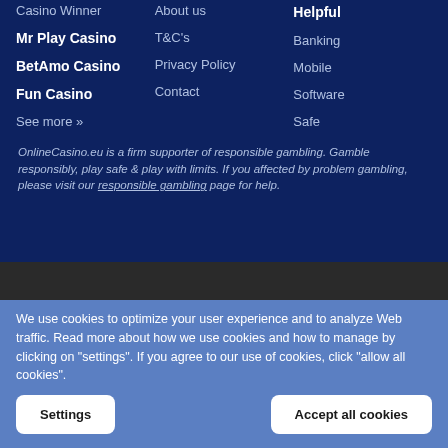Casino Winner
Mr Play Casino
BetAmo Casino
Fun Casino
See more »
About us
T&C's
Privacy Policy
Contact
Helpful
Banking
Mobile
Software
Safe
OnlineCasino.eu is a firm supporter of responsible gambling. Gamble responsibly, play safe & play with limits. If you affected by problem gambling, please visit our responsible gambling page for help.
We use cookies to optimize your user experience and to analyze Web traffic. Read more about how we use cookies and how to manage by clicking on "settings". If you agree to our use of cookies, click "allow all cookies".
Settings
Accept all cookies